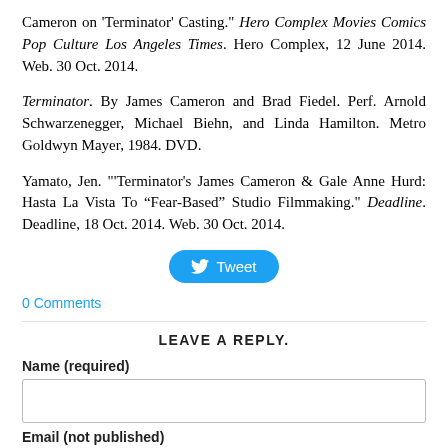Cameron on 'Terminator' Casting." Hero Complex Movies Comics Pop Culture Los Angeles Times. Hero Complex, 12 June 2014. Web. 30 Oct. 2014.
Terminator. By James Cameron and Brad Fiedel. Perf. Arnold Schwarzenegger, Michael Biehn, and Linda Hamilton. Metro Goldwyn Mayer, 1984. DVD.
Yamato, Jen. "'Terminator's James Cameron & Gale Anne Hurd: Hasta La Vista To “Fear-Based” Studio Filmmaking." Deadline. Deadline, 18 Oct. 2014. Web. 30 Oct. 2014.
[Figure (other): Twitter Tweet button (blue rounded button with bird icon and 'Tweet' label)]
0 Comments
LEAVE A REPLY.
Name (required)
Email (not published)